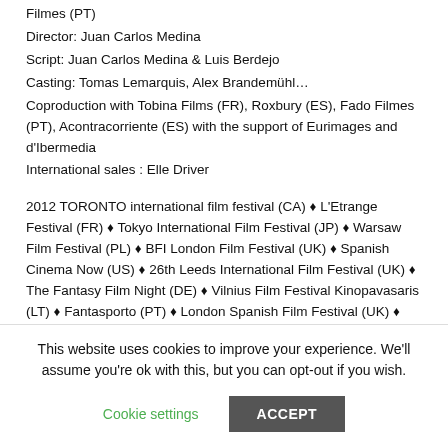Filmes (PT)
Director: Juan Carlos Medina
Script: Juan Carlos Medina & Luis Berdejo
Casting: Tomas Lemarquis, Alex Brandemühl…
Coproduction with Tobina Films (FR), Roxbury (ES), Fado Filmes (PT), Acontracorriente (ES) with the support of Eurimages and d'Ibermedia
International sales : Elle Driver
2012 TORONTO international film festival (CA) ♦ L'Etrange Festival (FR) ♦ Tokyo International Film Festival (JP) ♦ Warsaw Film Festival (PL) ♦ BFI London Film Festival (UK) ♦ Spanish Cinema Now (US) ♦ 26th Leeds International Film Festival (UK) ♦ The Fantasy Film Night (DE) ♦ Vilnius Film Festival Kinopavasaris (LT) ♦ Fantasporto (PT) ♦ London Spanish Film Festival (UK) ♦
This website uses cookies to improve your experience. We'll assume you're ok with this, but you can opt-out if you wish.